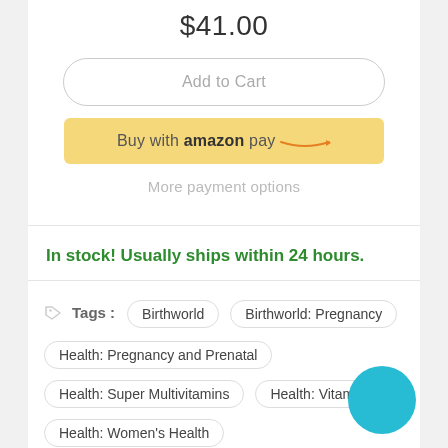$41.00
Add to Cart
Buy with amazon pay
More payment options
In stock! Usually ships within 24 hours.
Tags : Birthworld  Birthworld: Pregnancy  Health: Pregnancy and Prenatal  Health: Super Multivitamins  Health: Vitamins  Health: Women's Health